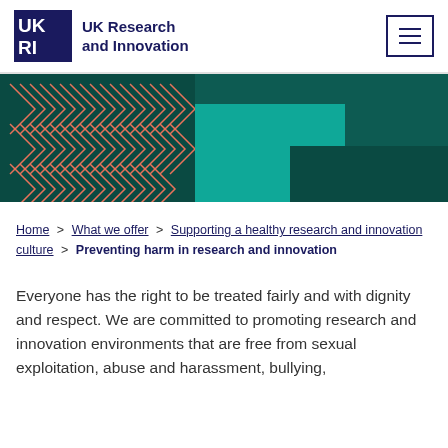UK Research and Innovation
[Figure (illustration): UKRI decorative hero banner with dark teal background, geometric chevron patterns in salmon/coral color on left, and teal block shapes on right]
Home > What we offer > Supporting a healthy research and innovation culture > Preventing harm in research and innovation
Everyone has the right to be treated fairly and with dignity and respect. We are committed to promoting research and innovation environments that are free from sexual exploitation, abuse and harassment, bullying,